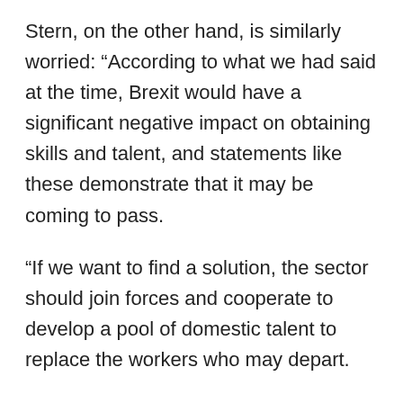Stern, on the other hand, is similarly worried: "According to what we had said at the time, Brexit would have a significant negative impact on obtaining skills and talent, and statements like these demonstrate that it may be coming to pass.
“If we want to find a solution, the sector should join forces and cooperate to develop a pool of domestic talent to replace the workers who may depart.
And trade union Unite is calling on the Government to wake up to the issue and adopt public procurement laws pushing employers to recruit and educate apprentices.
acting general secretary Gail Cartmail said: “This survey